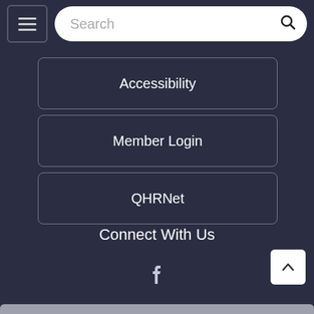Search bar with hamburger menu
Accessibility
Member Login
QHRNet
Connect With Us
[Figure (illustration): Facebook icon (white)]
[Figure (illustration): Twitter icon (white)]
[Figure (illustration): Instagram icon (white)]